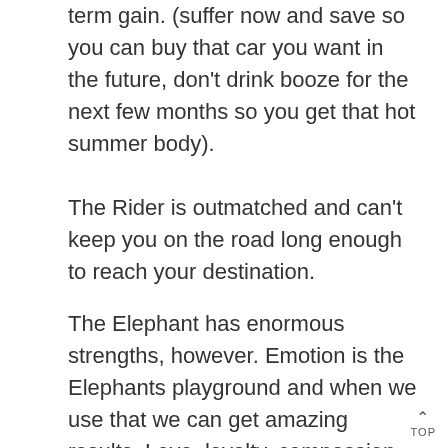term gain. (suffer now and save so you can buy that car you want in the future, don't drink booze for the next few months so you get that hot summer body).
The Rider is outmatched and can't keep you on the road long enough to reach your destination.
The Elephant has enormous strengths, however. Emotion is the Elephants playground and when we use that we can get amazing results. Love, loyalty, compassion. The spine stiffening you feel when you need to stand up for yourself, protecting your kids, thats the Elephant. In my 10 years of personal training the 2 greatest motivators i've found have been when a person breaks up from their partner